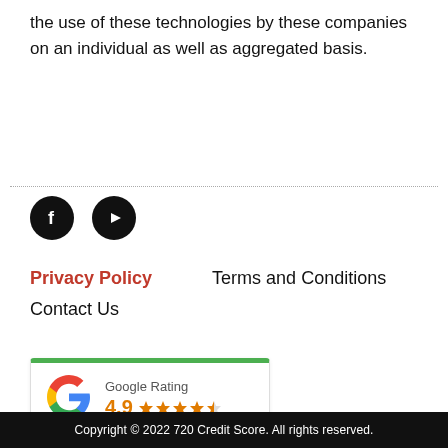the use of these technologies by these companies on an individual as well as aggregated basis.
[Figure (infographic): Facebook and YouTube social media icons (black circles with white logos)]
Privacy Policy   Terms and Conditions
Contact Us
[Figure (infographic): Google Rating widget showing 4.9 stars out of 5 with a Google G logo and green top border]
Copyright © 2022 720 Credit Score. All rights reserved.